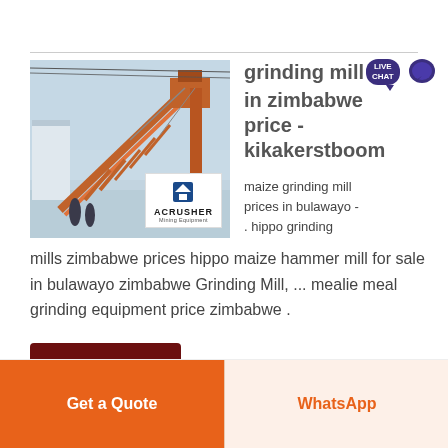[Figure (photo): Industrial mining equipment / conveyor structure with orange metal frame, with ACRUSHER Mining Equipment logo overlay]
grinding mills in zimbabwe price - kikakerstboom
maize grinding mill prices in bulawayo - . hippo grinding mills zimbabwe prices hippo maize hammer mill for sale in bulawayo zimbabwe Grinding Mill, ... mealie meal grinding equipment price zimbabwe .
Get Price
Get a Quote
WhatsApp